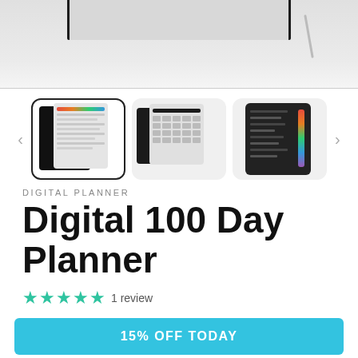[Figure (screenshot): Product page screenshot for Digital 100 Day Planner showing hero image of tablet at top, three thumbnail images of the planner, product title, star rating, and CTA button]
DIGITAL PLANNER
Digital 100 Day Planner
★★★★★ 1 review
15% OFF TODAY